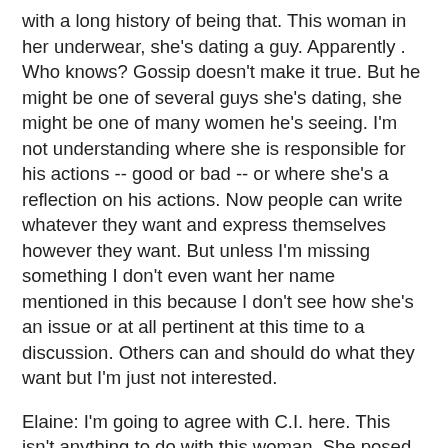with a long history of being that. This woman in her underwear, she's dating a guy. Apparently . Who knows? Gossip doesn't make it true. But he might be one of several guys she's dating, she might be one of many women he's seeing. I'm not understanding where she is responsible for his actions -- good or bad -- or where she's a reflection on his actions. Now people can write whatever they want and express themselves however they want. But unless I'm missing something I don't even want her name mentioned in this because I don't see how she's an issue or at all pertinent at this time to a discussion. Others can and should do what they want but I'm just not interested.
Elaine: I'm going to agree with C.I. here. This isn't anything to do with this woman. She posed in her underwear -- in designer underwear, it was a fashion shoot, it's not her personal underwear. Do people know anything about photo shoots? I know C.I. will say, "No." I've heard her say it plenty of times. But, the photo you see in the magazine or wherever, that's not necessarily the one the model or photographer planned. It's the one that turned out best. The one that sells. I mean, Carly Simon's infamous Playing